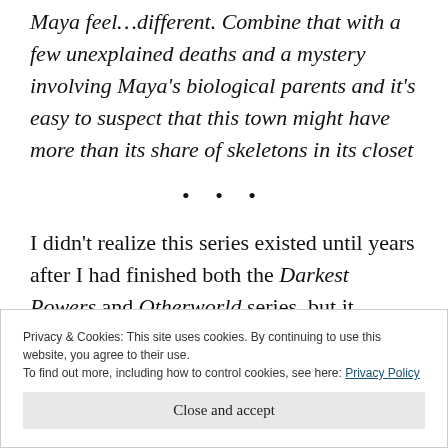Maya feel…different. Combine that with a few unexplained deaths and a mystery involving Maya's biological parents and it's easy to suspect that this town might have more than its share of skeletons in its closet
• • •
I didn't realize this series existed until years after I had finished both the Darkest Powers and Otherworld series, but it continues on in the
Privacy & Cookies: This site uses cookies. By continuing to use this website, you agree to their use.
To find out more, including how to control cookies, see here: Privacy Policy
Close and accept